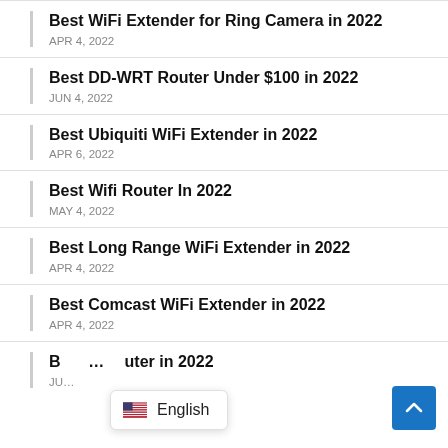Best WiFi Extender for Ring Camera in 2022
APR 4, 2022
Best DD-WRT Router Under $100 in 2022
JUN 4, 2022
Best Ubiquiti WiFi Extender in 2022
APR 6, 2022
Best Wifi Router In 2022
MAY 4, 2022
Best Long Range WiFi Extender in 2022
APR 4, 2022
Best Comcast WiFi Extender in 2022
APR 4, 2022
B... uter in 2022
JU...